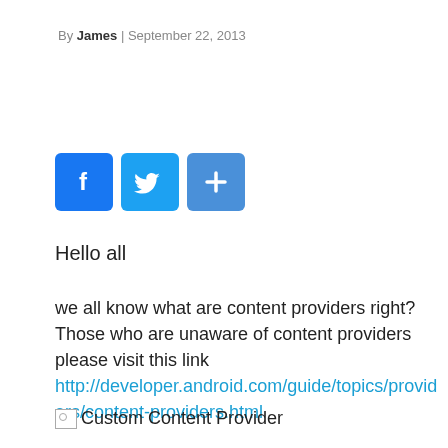By James | September 22, 2013
[Figure (other): Social sharing icons: Facebook (f), Twitter (bird), and a share/plus button, all with blue rounded square backgrounds]
Hello all
we all know what are content providers right? Those who are unaware of content providers please visit this link http://developer.android.com/guide/topics/providers/content-providers.html
[Figure (other): Broken image placeholder labeled Custom Content Provider]